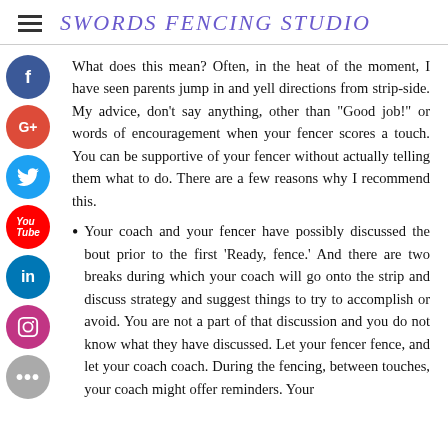SWORDS FENCING STUDIO
What does this mean? Often, in the heat of the moment, I have seen parents jump in and yell directions from strip-side. My advice, don't say anything, other than "Good job!" or words of encouragement when your fencer scores a touch. You can be supportive of your fencer without actually telling them what to do. There are a few reasons why I recommend this.
Your coach and your fencer have possibly discussed the bout prior to the first 'Ready, fence.' And there are two breaks during which your coach will go onto the strip and discuss strategy and suggest things to try to accomplish or avoid. You are not a part of that discussion and you do not know what they have discussed. Let your fencer fence, and let your coach coach. During the fencing, between touches, your coach might offer reminders. Your